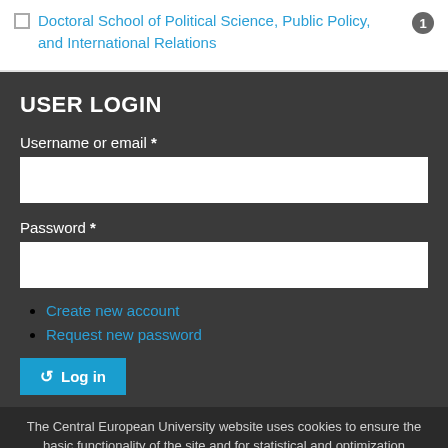Doctoral School of Political Science, Public Policy, and International Relations [1]
USER LOGIN
Username or email *
Password *
Create new account
Request new password
Log in
The Central European University website uses cookies to ensure the basic functionality of the site and for statistical and optimization purposes. It also uses cookies to display content such as YouTube